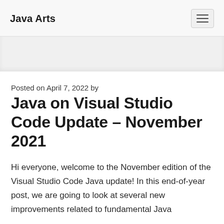Java Arts
Posted on April 7, 2022 by
Java on Visual Studio Code Update – November 2021
Hi everyone, welcome to the November edition of the Visual Studio Code Java update! In this end-of-year post, we are going to look at several new improvements related to fundamental Java